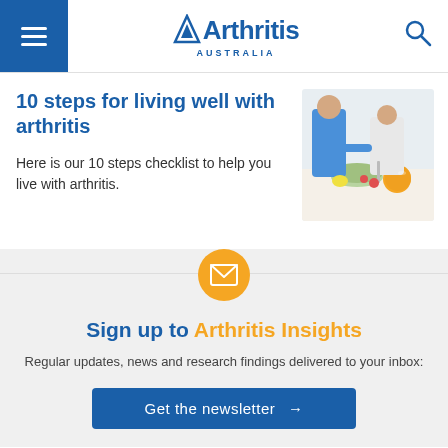Arthritis Australia
10 steps for living well with arthritis
Here is our 10 steps checklist to help you live with arthritis.
[Figure (photo): Two people preparing food at a kitchen counter with salad and fruits visible]
Sign up to Arthritis Insights
Regular updates, news and research findings delivered to your inbox:
Get the newsletter →